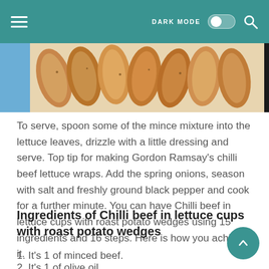DARK MODE [toggle] [search]
[Figure (photo): Partial view of roasted potato wedges on a plate with blue background visible at left edge]
To serve, spoon some of the mince mixture into the lettuce leaves, drizzle with a little dressing and serve. Top tip for making Gordon Ramsay's chilli beef lettuce wraps. Add the spring onions, season with salt and freshly ground black pepper and cook for a further minute. You can have Chilli beef in lettuce cups with roast potato wedges using 15 ingredients and 16 steps. Here is how you achieve it.
Ingredients of Chilli beef in lettuce cups with roast potato wedges
1. It's 1 of minced beef.
2. It's 1 of olive oil.